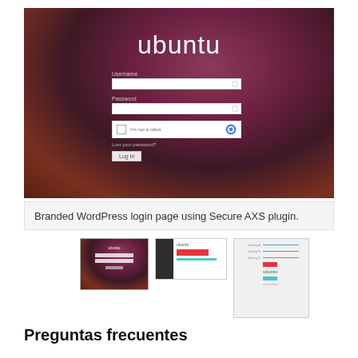[Figure (screenshot): Ubuntu branded WordPress login page showing the ubuntu logo in white text on a dark reddish-purple gradient background, with Username and Password fields, a reCAPTCHA checkbox, Lost your password link, and Log In button.]
Branded WordPress login page using Secure AXS plugin.
[Figure (screenshot): Three thumbnail screenshots showing different views of the Ubuntu branded WordPress login and settings pages.]
Preguntas frecuentes